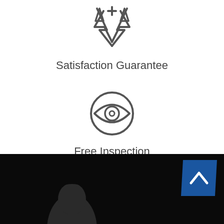[Figure (illustration): Award ribbon / satisfaction guarantee icon — an outline ribbon/medal icon in dark gray]
Satisfaction Guarantee
[Figure (illustration): Eye inside a circle — outline icon representing free inspection, in dark gray]
Free Inspection
[Figure (illustration): Dark background section with a back-to-top button (blue parallelogram with upward chevron) and partial silhouette of a person's head at the bottom]
[Figure (illustration): Back-to-top button: blue parallelogram shape with white upward-pointing chevron]